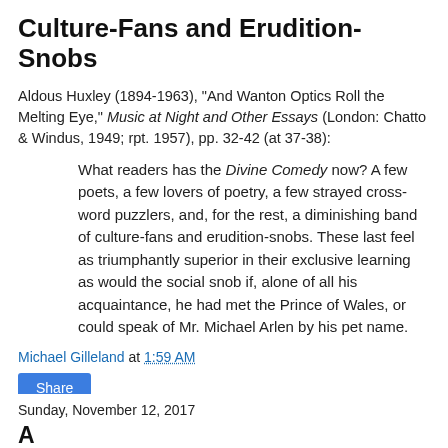Culture-Fans and Erudition-Snobs
Aldous Huxley (1894-1963), "And Wanton Optics Roll the Melting Eye," Music at Night and Other Essays (London: Chatto & Windus, 1949; rpt. 1957), pp. 32-42 (at 37-38):
What readers has the Divine Comedy now? A few poets, a few lovers of poetry, a few strayed cross-word puzzlers, and, for the rest, a diminishing band of culture-fans and erudition-snobs. These last feel as triumphantly superior in their exclusive learning as would the social snob if, alone of all his acquaintance, he had met the Prince of Wales, or could speak of Mr. Michael Arlen by his pet name.
Michael Gilleland at 1:59 AM
Share
Sunday, November 12, 2017
An article title beginning...